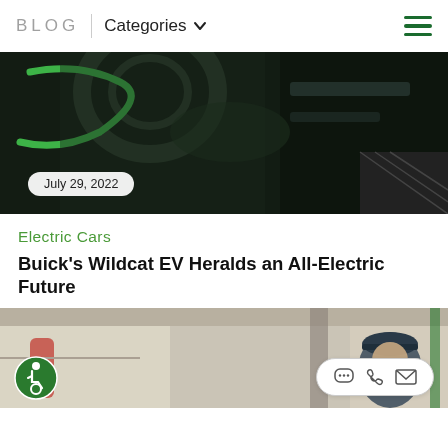BLOG | Categories
[Figure (photo): Close-up of electric car dashboard and steering wheel with green accents, dated July 29, 2022]
July 29, 2022
Electric Cars
Buick's Wildcat EV Heralds an All-Electric Future
[Figure (photo): Mechanic in blue cap working in a garage, partially visible at bottom of page]